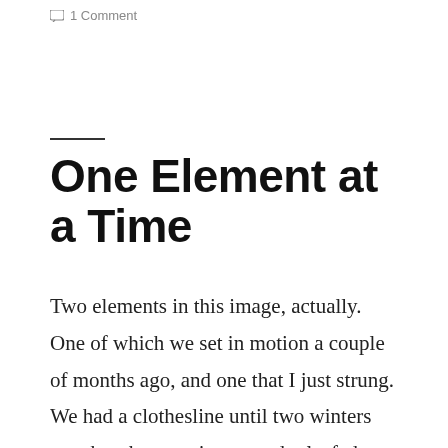1 Comment
One Element at a Time
Two elements in this image, actually. One of which we set in motion a couple of months ago, and one that I just strung. We had a clothesline until two winters ago, but the trees it was under leafed out so much it stopped